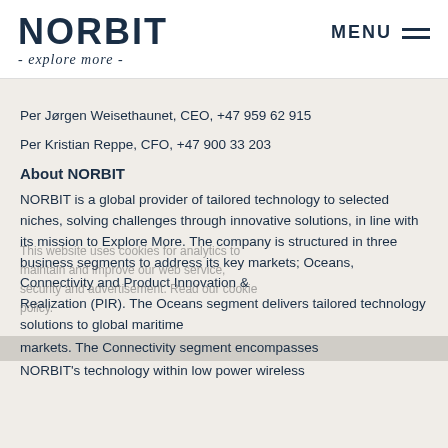[Figure (logo): NORBIT logo with tagline '- explore more -']
Per Jørgen Weisethaunet, CEO, +47 959 62 915
Per Kristian Reppe, CFO, +47 900 33 203
About NORBIT
NORBIT is a global provider of tailored technology to selected niches, solving challenges through innovative solutions, in line with its mission to Explore More. The company is structured in three business segments to address its key markets; Oceans, Connectivity and Product Innovation & Realization (PIR). The Oceans segment delivers tailored technology solutions to global maritime markets. The Connectivity segment encompasses NORBIT's technology within low power wireless